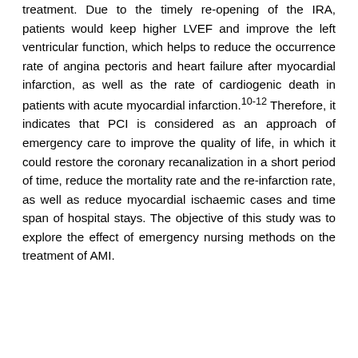treatment. Due to the timely re-opening of the IRA, patients would keep higher LVEF and improve the left ventricular function, which helps to reduce the occurrence rate of angina pectoris and heart failure after myocardial infarction, as well as the rate of cardiogenic death in patients with acute myocardial infarction.10-12 Therefore, it indicates that PCI is considered as an approach of emergency care to improve the quality of life, in which it could restore the coronary recanalization in a short period of time, reduce the mortality rate and the re-infarction rate, as well as reduce myocardial ischaemic cases and time span of hospital stays. The objective of this study was to explore the effect of emergency nursing methods on the treatment of AMI.